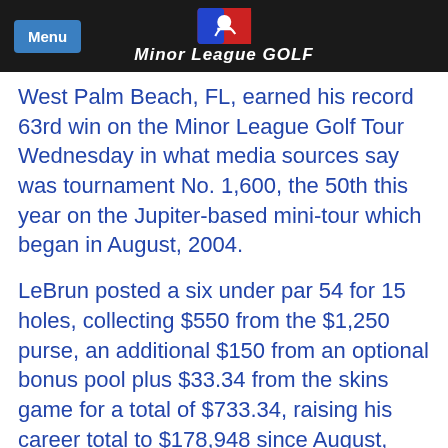Menu | Minor League GOLF
West Palm Beach, FL, earned his record 63rd win on the Minor League Golf Tour Wednesday in what media sources say was tournament No. 1,600, the 50th this year on the Jupiter-based mini-tour which began in August, 2004.
LeBrun posted a six under par 54 for 15 holes, collecting $550 from the $1,250 purse, an additional $150 from an optional bonus pool plus $33.34 from the skins game for a total of $733.34, raising his career total to $178,948 since August, 2007.